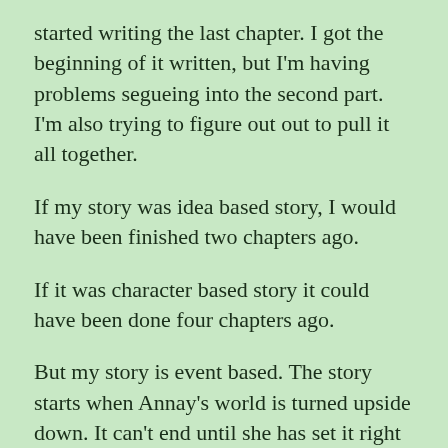started writing the last chapter. I got the beginning of it written, but I'm having problems segueing into the second part. I'm also trying to figure out out to pull it all together.
If my story was idea based story, I would have been finished two chapters ago.
If it was character based story it could have been done four chapters ago.
But my story is event based. The story starts when Annay's world is turned upside down. It can't end until she has set it right again, or at least accepted her new life as right side up.